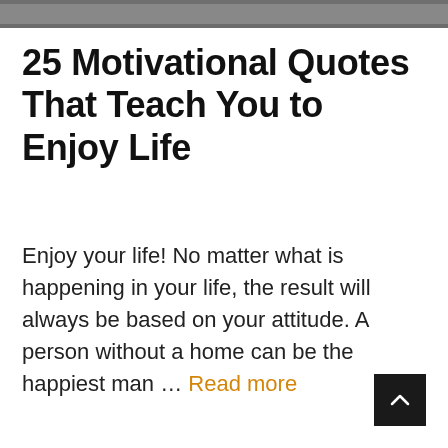[Figure (photo): Partial photo visible at top of page, cropped]
25 Motivational Quotes That Teach You to Enjoy Life
Enjoy your life! No matter what is happening in your life, the result will always be based on your attitude. A person without a home can be the happiest man … Read more